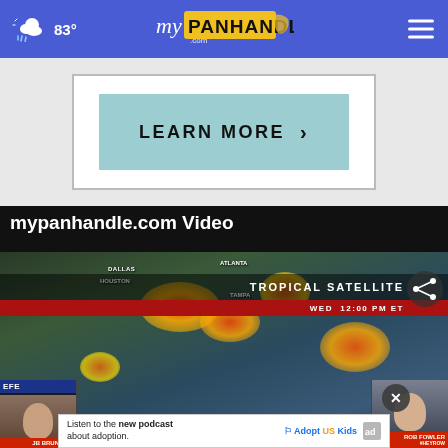83° mypanhandle.com
[Figure (screenshot): Advertisement banner with 'LEARN MORE >' button on light blue background inside a bordered white box]
mypanhandle.com Video
[Figure (screenshot): Tropical satellite weather map showing southeastern US with TROPICAL SATELLITE title, WED 12:00 PM ET timestamp, weather radar blobs, city labels (Dallas, Houston, Atlanta, Tampa, Miami), two news anchors JB BRUNO and ROB FOWLER #HEYROW in lower corners, share icon, and close button]
[Figure (screenshot): Bottom advertisement: 'Listen to the new podcast about adoption.' with Adopt US Kids logo and ad badge]